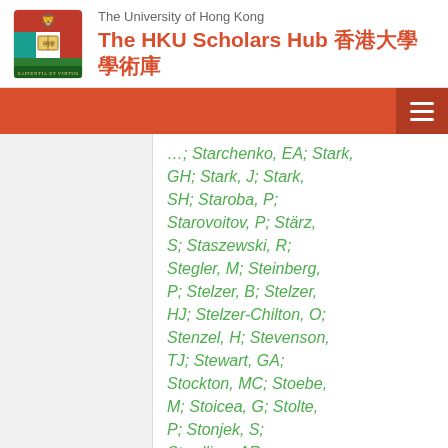The University of Hong Kong — The HKU Scholars Hub 香港大學學術庫
…; Starchenko, EA; Stark, GH; Stark, J; Stark, SH; Staroba, P; Starovoitov, P; Stärz, S; Staszewski, R; Stegler, M; Steinberg, P; Stelzer, B; Stelzer, HJ; Stelzer-Chilton, O; Stenzel, H; Stevenson, TJ; Stewart, GA; Stockton, MC; Stoebe, M; Stoicea, G; Stolte, P; Stonjek, S; Stradling, AR; Straessner, A; Stramaglia, ME; Strandberg, J;